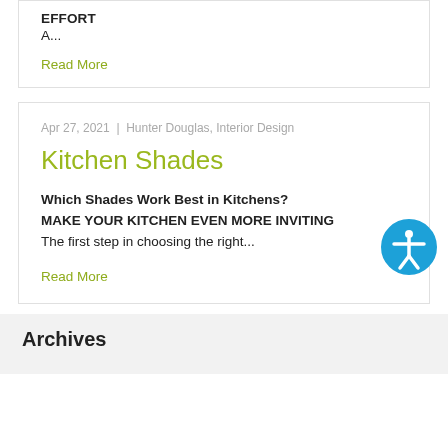EFFORT
A...
Read More
Apr 27, 2021  |  Hunter Douglas, Interior Design
Kitchen Shades
Which Shades Work Best in Kitchens?
MAKE YOUR KITCHEN EVEN MORE INVITING
The first step in choosing the right...
Read More
Archives